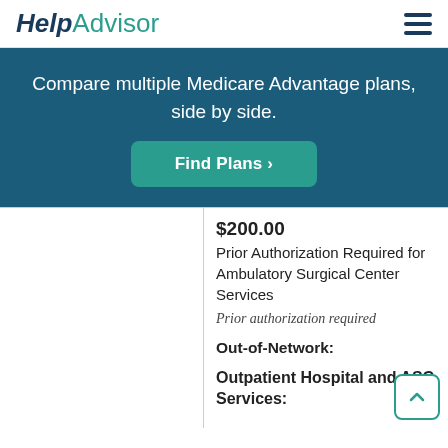HelpAdvisor
Compare multiple Medicare Advantage plans, side by side.
Find Plans >
$200.00
Prior Authorization Required for Ambulatory Surgical Center Services
Prior authorization required

Out-of-Network:

Outpatient Hospital and ASC Services: